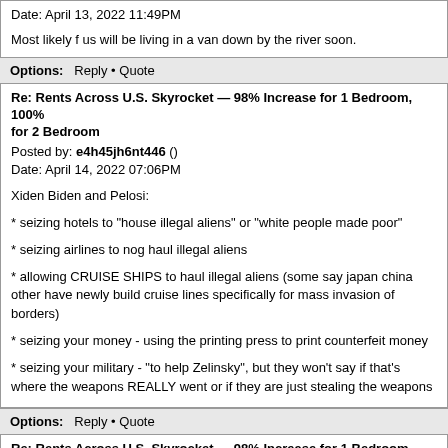Date: April 13, 2022 11:49PM
Most likely f us will be living in a van down by the river soon.
Options: Reply • Quote
Re: Rents Across U.S. Skyrocket — 98% Increase for 1 Bedroom, 100% for 2 Bedroom
Posted by: e4h45jh6nt446 ()
Date: April 14, 2022 07:06PM
Xiden Biden and Pelosi:
* seizing hotels to "house illegal aliens" or "white people made poor"
* seizing airlines to nog haul illegal aliens
* allowing CRUISE SHIPS to haul illegal aliens (some say japan china other have newly build cruise lines specifically for mass invasion of borders)
* seizing your money - using the printing press to print counterfeit money
* seizing your military - "to help Zelinsky", but they won't say if that's where the weapons REALLY went or if they are just stealing the weapons
Options: Reply • Quote
Re: Rents Across U.S. Skyrocket — 98% Increase for 1 Bedroom, 100% for 2 Bedroom
Posted by: 34h4n45 ()